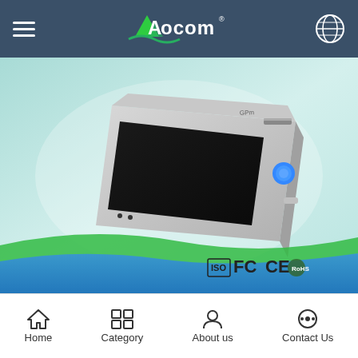Aocom - navigation header with hamburger menu, logo, and globe icon
[Figure (photo): Handheld POS terminal device (Aocom POS-Z81 or similar) shown at an angle on a teal/cyan gradient background, with ISO, FCC, CE, RoHS certification logos at the bottom right of the image area]
POS Z81
Home | Category | About us | Contact Us